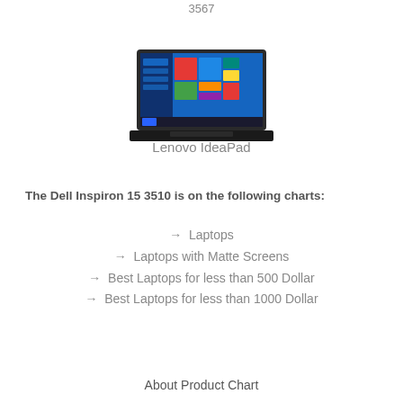3567
[Figure (photo): Lenovo IdeaPad laptop with Windows 10 screen displayed]
Lenovo IdeaPad
The Dell Inspiron 15 3510 is on the following charts:
→  Laptops
→  Laptops with Matte Screens
→  Best Laptops for less than 500 Dollar
→  Best Laptops for less than 1000 Dollar
About Product Chart